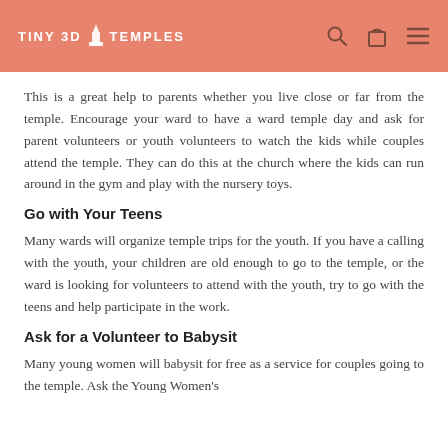TINY 3D TEMPLES
This is a great help to parents whether you live close or far from the temple. Encourage your ward to have a ward temple day and ask for parent volunteers or youth volunteers to watch the kids while couples attend the temple. They can do this at the church where the kids can run around in the gym and play with the nursery toys.
Go with Your Teens
Many wards will organize temple trips for the youth. If you have a calling with the youth, your children are old enough to go to the temple, or the ward is looking for volunteers to attend with the youth, try to go with the teens and help participate in the work.
Ask for a Volunteer to Babysit
Many young women will babysit for free as a service for couples going to the temple. Ask the Young Women's